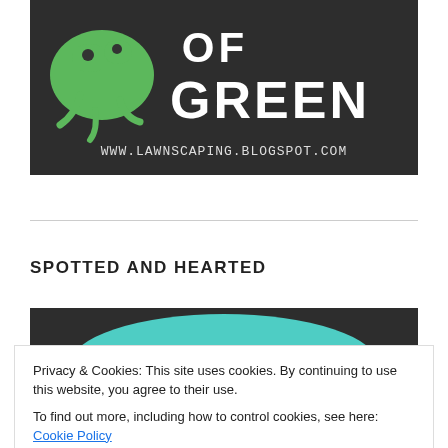[Figure (illustration): Dark/charcoal background banner with a green cartoon frog/gecko on the left, large white text 'OF GREEN' on the right, and URL 'WWW.LAWNSCAPING.BLOGSPOT.COM' below in white.]
SPOTTED AND HEARTED
[Figure (illustration): Dark background banner with teal oval shape and cursive script text partially visible.]
[Figure (illustration): Dark background banner with white text 'BY THE' visible.]
Privacy & Cookies: This site uses cookies. By continuing to use this website, you agree to their use.
To find out more, including how to control cookies, see here: Cookie Policy
Close and accept